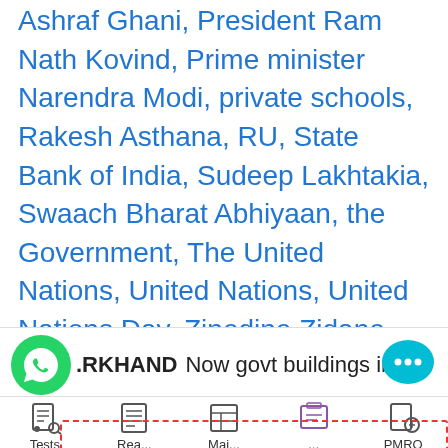Ashraf Ghani, President Ram Nath Kovind, Prime minister Narendra Modi, private schools, Rakesh Asthana, RU, State Bank of India, Sudeep Lakhtakia, Swaach Bharat Abhiyaan, the Government, The United Nations, United Nations, United Nations Day, Zinedine Zidane
[Figure (logo): YouTube play button icon (red rounded rectangle with white triangle)]
21.10.17 JPSC (Jharkhand) Current Affairs
[Figure (screenshot): Bottom navigation bar with WhatsApp icon, JHARKHAND label, 'Now govt buildings in' text, chat bubble icon, and navigation items (Tests, Reading, Main, something, PMRQ) with dashed red border]